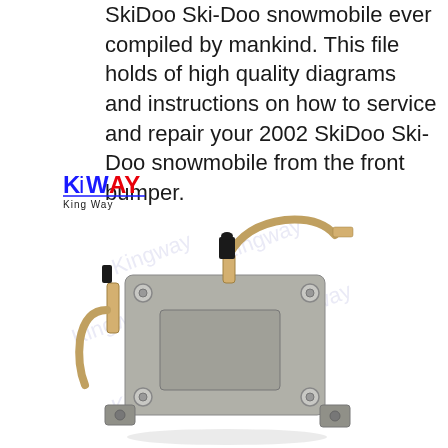SkiDoo Ski-Doo snowmobile ever compiled by mankind. This file holds of high quality diagrams and instructions on how to service and repair your 2002 SkiDoo Ski-Doo snowmobile from the front bumper.
[Figure (photo): Photo of a fuel pump component (likely for a 2002 SkiDoo Ski-Doo snowmobile) with metal fittings, hoses, bolts and mounting brackets, shown on a white background with a 'King Way' watermark overlay and KWAY logo in the upper left corner.]